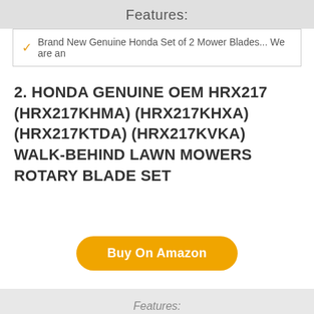Features:
Brand New Genuine Honda Set of 2 Mower Blades... We are an
2. HONDA GENUINE OEM HRX217 (HRX217KHMA) (HRX217KHXA) (HRX217KTDA) (HRX217KVKA) WALK-BEHIND LAWN MOWERS ROTARY BLADE SET
Buy On Amazon
Features: